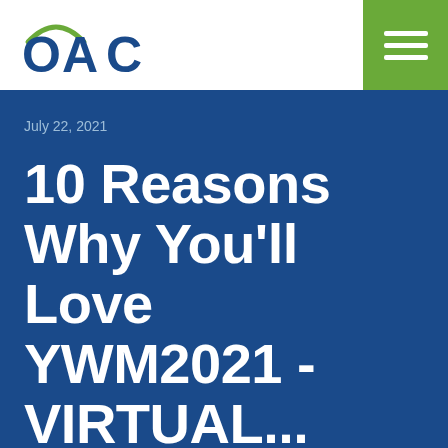OAC
July 22, 2021
10 Reasons Why You'll Love YWM2021 - VIRTUAL...